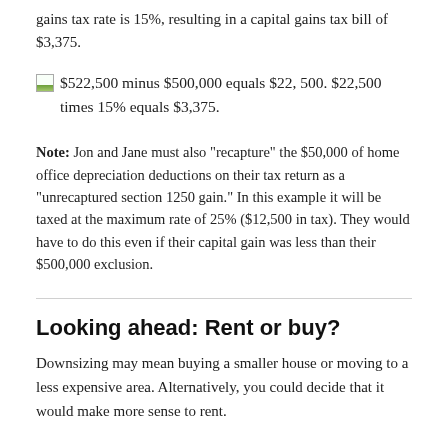gains tax rate is 15%, resulting in a capital gains tax bill of $3,375.
[Figure (illustration): Equation image showing: $522,500 minus $500,000 equals $22,500. $22,500 times 15% equals $3,375.]
Note: Jon and Jane must also "recapture" the $50,000 of home office depreciation deductions on their tax return as a "unrecaptured section 1250 gain." In this example it will be taxed at the maximum rate of 25% ($12,500 in tax). They would have to do this even if their capital gain was less than their $500,000 exclusion.
Looking ahead: Rent or buy?
Downsizing may mean buying a smaller house or moving to a less expensive area. Alternatively, you could decide that it would make more sense to rent.